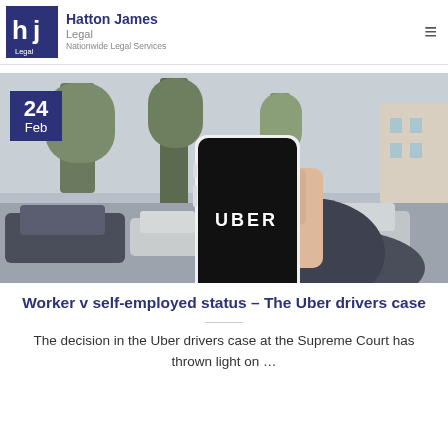Hatton James Legal – Nationwide Legal Services
[Figure (photo): Person holding a smartphone displaying the Uber logo, with a blurred street scene and cars in the background. A date badge showing '24 Feb' is overlaid on the top-left of the image.]
Worker v self-employed status – The Uber drivers case
The decision in the Uber drivers case at the Supreme Court has thrown light on …